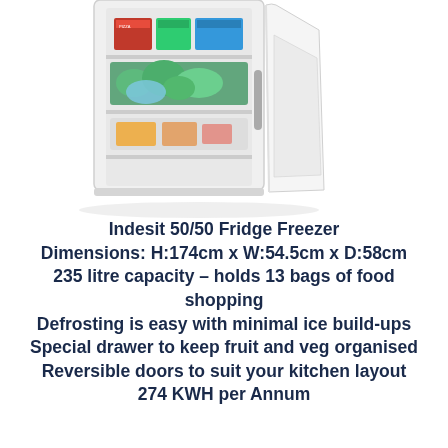[Figure (photo): Photo of an Indesit fridge freezer with the freezer door open showing frozen food in drawers, and the fridge door closed on the right side.]
Indesit 50/50 Fridge Freezer
Dimensions: H:174cm x W:54.5cm x D:58cm
235 litre capacity – holds 13 bags of food shopping
Defrosting is easy with minimal ice build-ups
Special drawer to keep fruit and veg organised
Reversible doors to suit your kitchen layout
274 KWH per Annum